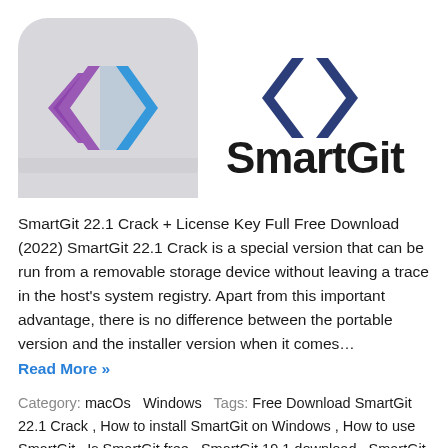[Figure (logo): SmartGit application icon showing two overlapping code bracket arrows in purple and blue on a light gray rounded square background, next to the SmartGit brand logo with dark navy bracket arrows and the word SmartGit in bold black text]
SmartGit 22.1 Crack + License Key Full Free Download (2022) SmartGit 22.1 Crack is a special version that can be run from a removable storage device without leaving a trace in the host's system registry. Apart from this important advantage, there is no difference between the portable version and the installer version when it comes…
Read More »
Category: macOs  Windows  Tags: Free Download SmartGit 22.1 Crack , How to install SmartGit on Windows , How to use SmartGit , Is SmartGit free , SmartGit 19.1 download , SmartGit 22.1 Crack , SmartGit 22.1 Crack 2022 , SmartGit 22.1 Crack